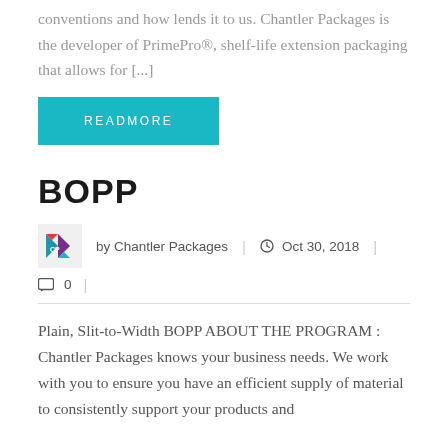conventions and how lends it to us. Chantler Packages is the developer of PrimePro®, shelf-life extension packaging that allows for [...]
READMORE
BOPP
by Chantler Packages | Oct 30, 2018 | 0 |
Plain, Slit-to-Width BOPP ABOUT THE PROGRAM : Chantler Packages knows your business needs. We work with you to ensure you have an efficient supply of material to consistently support your products and